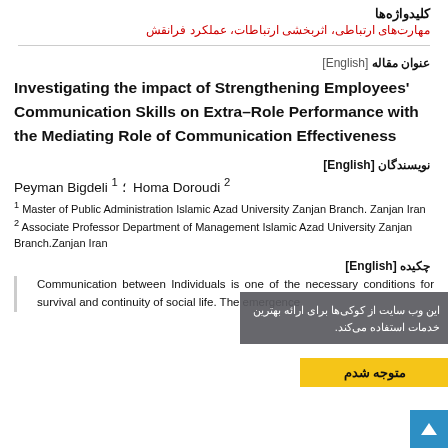کلیدواژه‌ها
مهارت‌های ارتباطی، اثربخشی ارتباطات، عملکرد فرانقش
عنوان مقاله [English]
Investigating the impact of Strengthening Employees' Communication Skills on Extra-Role Performance with the Mediating Role of Communication Effectiveness
نویسندگان [English]
Peyman Bigdeli 1 ؛  Homa Doroudi 2
1 Master of Public Administration Islamic Azad University Zanjan Branch. Zanjan Iran
2 Associate Professor Department of Management Islamic Azad University Zanjan Branch.Zanjan Iran
چکیده [English]
Communication between individuals is one of the necessary conditions for survival and continuity of social life. The emergence